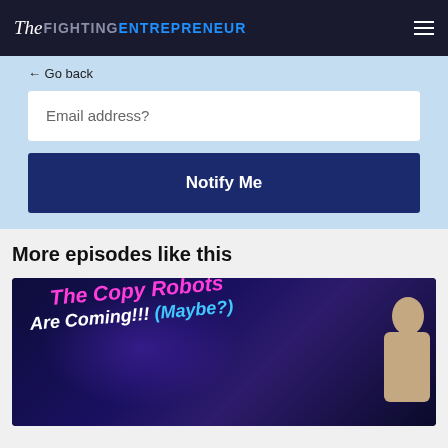The Fighting Entrepreneur
← Go back
Email address?
Notify Me
More episodes like this
[Figure (photo): Podcast episode thumbnail showing text 'The Copy Robots Are Coming!!! (Maybe?)' in pink and white italic text on dark blue background, with a person visible on the right side.]